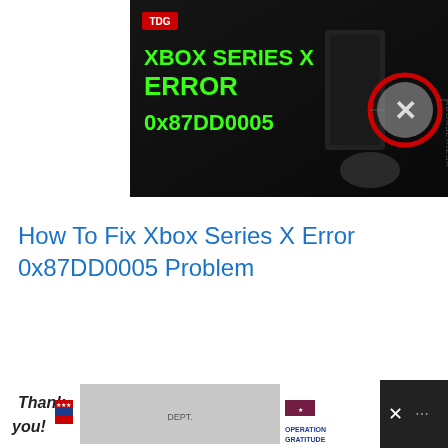[Figure (screenshot): Dark thumbnail image with TDG logo, showing Xbox Series X console and controller, with green text reading 'XBOX SERIES X ERROR 0x87DD0005' and a red-circled Xbox button logo.]
How To Fix Xbox Series X Error 0x87DD0005 Problem
[Figure (screenshot): Dark thumbnail image with TDG logo and red record button circle, showing Xbox Series X console, with white bold text 'ENABLE FPS BOOST ON XBOX' and a red-circled Xbox button logo on right side.]
[Figure (screenshot): Advertisement banner at bottom: 'Thank you!' message with American flag and firefighters group photo, Operation Gratitude logo with American flag, and a close (x) button.]